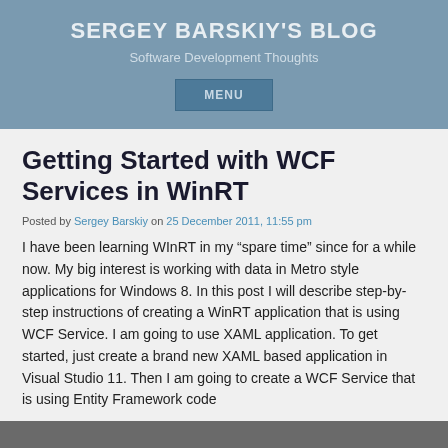SERGEY BARSKIY'S BLOG
Software Development Thoughts
MENU
Getting Started with WCF Services in WinRT
Posted by Sergey Barskiy on 25 December 2011, 11:55 pm
I have been learning WInRT in my “spare time” since for a while now. My big interest is working with data in Metro style applications for Windows 8. In this post I will describe step-by-step instructions of creating a WinRT application that is using WCF Service. I am going to use XAML application. To get started, just create a brand new XAML based application in Visual Studio 11. Then I am going to create a WCF Service that is using Entity Framework code